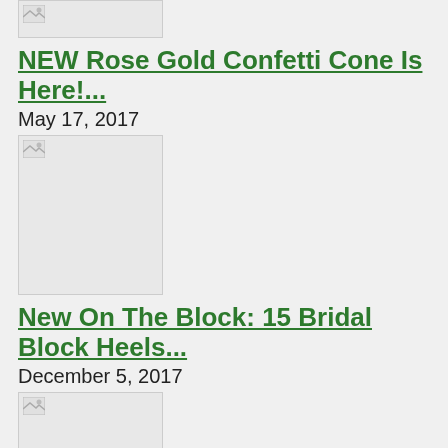[Figure (photo): Thumbnail image placeholder (broken image icon), partially visible at top]
NEW Rose Gold Confetti Cone Is Here!...
May 17, 2017
[Figure (photo): Thumbnail image placeholder (broken image icon)]
New On The Block: 15 Bridal Block Heels...
December 5, 2017
[Figure (photo): Thumbnail image placeholder (broken image icon)]
Best Bridal Makeup Products for Your Wedding Day...
June 4, 2019